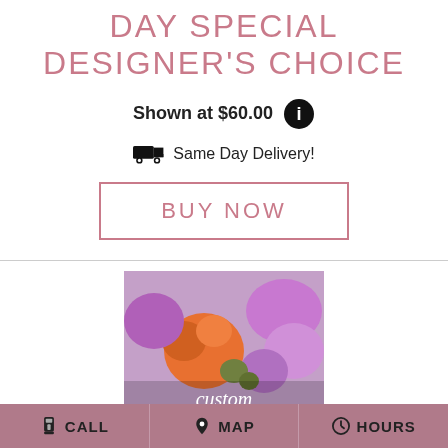DAY SPECIAL DESIGNER'S CHOICE
Shown at $60.00
Same Day Delivery!
BUY NOW
[Figure (photo): Colorful custom flower arrangement with orange roses, purple/pink flowers and green accents. Text overlay reads 'custom ARRANGEMENTS']
CALL  MAP  HOURS